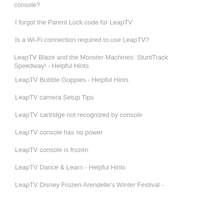console?
I forgot the Parent Lock code for LeapTV
Is a Wi-Fi connection required to use LeapTV?
LeapTV Blaze and the Monster Machines: StuntTrack Speedway! - Helpful Hints
LeapTV Bubble Guppies - Helpful Hints
LeapTV camera Setup Tips
LeapTV cartridge not recognized by console
LeapTV console has no power
LeapTV console is frozen
LeapTV Dance & Learn - Helpful Hints
LeapTV Disney Frozen Arendelle's Winter Festival -